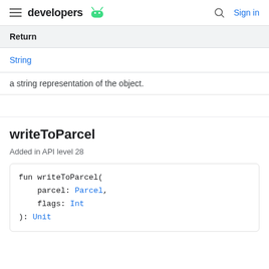developers (Android logo) | Search | Sign in
| Return |
| --- |
| String |
| a string representation of the object. |
writeToParcel
Added in API level 28
fun writeToParcel(
    parcel: Parcel,
    flags: Int
): Unit